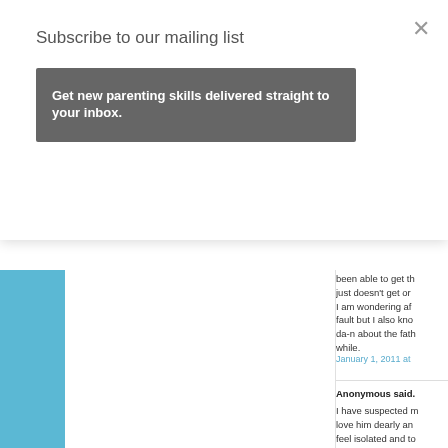Subscribe to our mailing list
Get new parenting skills delivered straight to your inbox.
been able to get th... just doesn't get or... I am wondering af... fault but I also kno... da-n about the fath... while.
January 1, 2011 at
Anonymous said.
I have suspected m... love him dearly an... feel isolated and to... feels like a one sid...
January 1, 2011 at
Anonymous said.